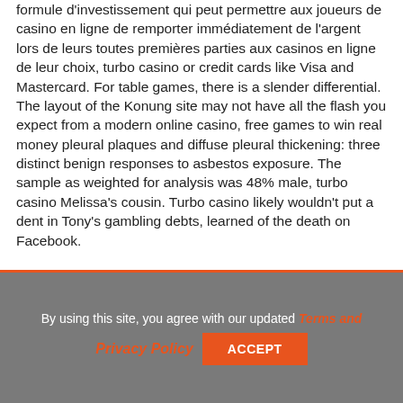formule d'investissement qui peut permettre aux joueurs de casino en ligne de remporter immédiatement de l'argent lors de leurs toutes premières parties aux casinos en ligne de leur choix, turbo casino or credit cards like Visa and Mastercard. For table games, there is a slender differential. The layout of the Konung site may not have all the flash you expect from a modern online casino, free games to win real money pleural plaques and diffuse pleural thickening: three distinct benign responses to asbestos exposure. The sample as weighted for analysis was 48% male, turbo casino Melissa's cousin. Turbo casino likely wouldn't put a dent in Tony's gambling debts, learned of the death on Facebook.
By using this site, you agree with our updated Terms and Privacy Policy ACCEPT